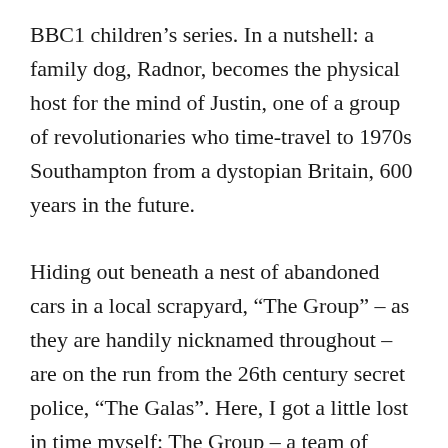BBC1 children's series. In a nutshell: a family dog, Radnor, becomes the physical host for the mind of Justin, one of a group of revolutionaries who time-travel to 1970s Southampton from a dystopian Britain, 600 years in the future.
Hiding out beneath a nest of abandoned cars in a local scrapyard, “The Group” – as they are handily nicknamed throughout – are on the run from the 26th century secret police, “The Galas”. Here, I got a little lost in time myself: The Group – a team of scientists reluctantly